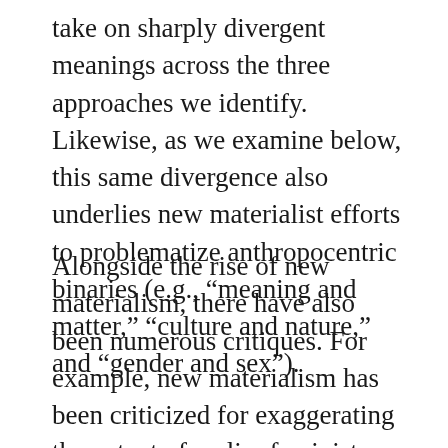take on sharply divergent meanings across the three approaches we identify. Likewise, as we examine below, this same divergence also underlies new materialist efforts to problematize anthropocentric binaries (e.g., “meaning and matter,” “culture and nature,” and “gender and sex”).
Alongside the rise of new materialism, there have also been numerous critiques. For example, new materialism has been criticized for exaggerating the extent of earlier feminist scholarship’s “biophobia” or neglect of matter;3 for rejecting Marxism and cultural materialism on mistaken grounds;4 for uncritically embracing and